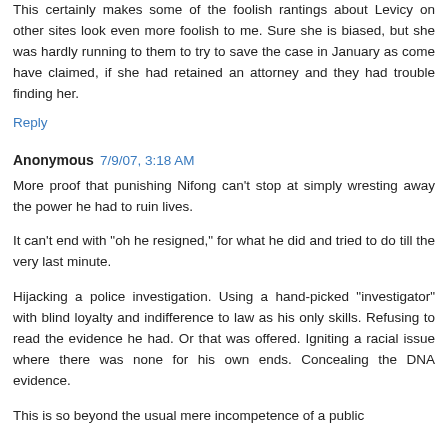This certainly makes some of the foolish rantings about Levicy on other sites look even more foolish to me. Sure she is biased, but she was hardly running to them to try to save the case in January as come have claimed, if she had retained an attorney and they had trouble finding her.
Reply
Anonymous 7/9/07, 3:18 AM
More proof that punishing Nifong can't stop at simply wresting away the power he had to ruin lives.
It can't end with "oh he resigned," for what he did and tried to do till the very last minute.
Hijacking a police investigation. Using a hand-picked "investigator" with blind loyalty and indifference to law as his only skills. Refusing to read the evidence he had. Or that was offered. Igniting a racial issue where there was none for his own ends. Concealing the DNA evidence.
This is so beyond the usual mere incompetence of a public